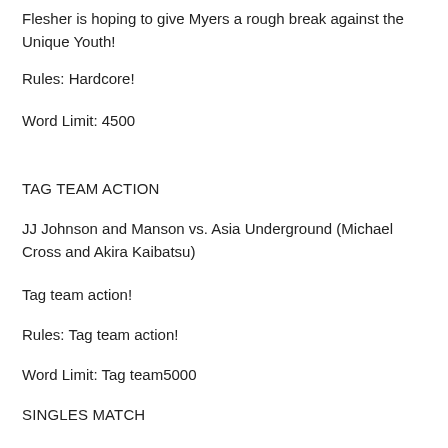Flesher is hoping to give Myers a rough break against the Unique Youth!
Rules: Hardcore!
Word Limit: 4500
TAG TEAM ACTION
JJ Johnson and Manson vs. Asia Underground (Michael Cross and Akira Kaibatsu)
Tag team action!
Rules: Tag team action!
Word Limit: Tag team5000
SINGLES MATCH
Johnny ‘the Barracuda’ Dangerous Vs Calvin Szechstein
After a narrow loss at the Clusterfuck, the Cadillac Boys were granted a